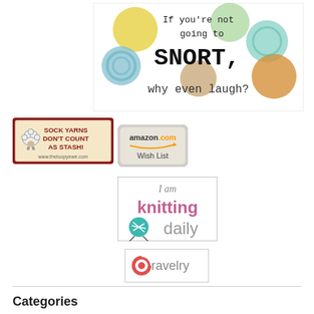[Figure (illustration): Humorous banner with colorful circles/blobs: text 'If you're not going to SNORT, why even laugh?' in quirky font on white/colored background]
[Figure (logo): The Loopy Ewe badge: dark red background, sheep cartoon, text 'SOCK YARNS DON'T COUNT AS STASH! www.theloopyewe.com']
[Figure (logo): Amazon.com Wish List button: rounded rectangle, amazon.com logo with orange swoosh, text 'Wish List']
[Figure (logo): I am knitting daily badge: white rectangle with pink/mauve 'knitting' and gray 'daily' text, teal yarn ball icon, 'I am' in italic script]
[Figure (logo): Ravelry badge: white rectangle with pink/red spiral 'e' logo and 'ravelry' text in gray]
Categories